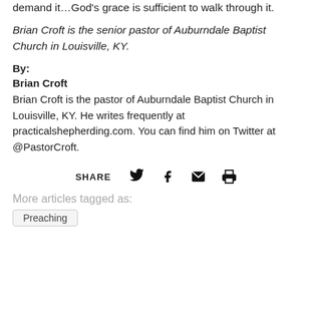demand it…God's grace is sufficient to walk through it.
Brian Croft is the senior pastor of Auburndale Baptist Church in Louisville, KY.
By:
Brian Croft
Brian Croft is the pastor of Auburndale Baptist Church in Louisville, KY. He writes frequently at practicalshepherding.com. You can find him on Twitter at @PastorCroft.
[Figure (infographic): SHARE row with Twitter, Facebook, Email, and Print icons]
More articles tagged as:
Preaching